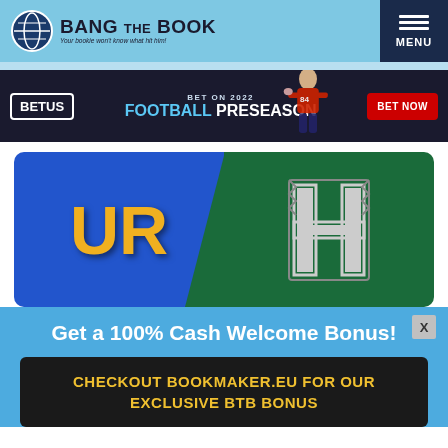BANG THE BOOK — Your bookie won't know what hit him!
[Figure (infographic): BetUS advertisement banner: BET ON 2022 FOOTBALL PRESEASON — BET NOW]
[Figure (illustration): College football matchup graphic: UC Riverside (UR) in blue on left vs Hawaii (H) in green on right]
Get a 100% Cash Welcome Bonus!
CHECKOUT BOOKMAKER.EU FOR OUR EXCLUSIVE BTB BONUS